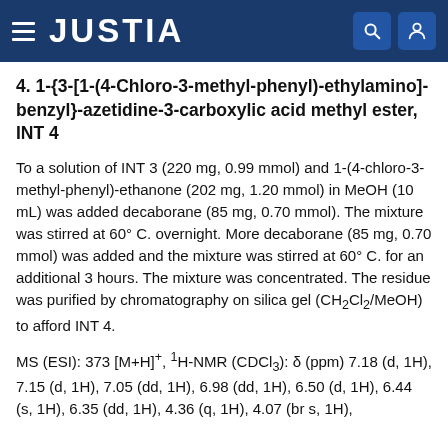JUSTIA
4. 1-{3-[1-(4-Chloro-3-methyl-phenyl)-ethylamino]-benzyl}-azetidine-3-carboxylic acid methyl ester, INT 4
To a solution of INT 3 (220 mg, 0.99 mmol) and 1-(4-chloro-3-methyl-phenyl)-ethanone (202 mg, 1.20 mmol) in MeOH (10 mL) was added decaborane (85 mg, 0.70 mmol). The mixture was stirred at 60° C. overnight. More decaborane (85 mg, 0.70 mmol) was added and the mixture was stirred at 60° C. for an additional 3 hours. The mixture was concentrated. The residue was purified by chromatography on silica gel (CH₂Cl₂/MeOH) to afford INT 4.
MS (ESI): 373 [M+H]⁺, ¹H-NMR (CDCl₃): δ (ppm) 7.18 (d, 1H), 7.15 (d, 1H), 7.05 (dd, 1H), 6.98 (dd, 1H), 6.50 (d, 1H), 6.44 (s, 1H), 6.35 (dd, 1H), 4.36 (q, 1H), 4.07 (br s, 1H),